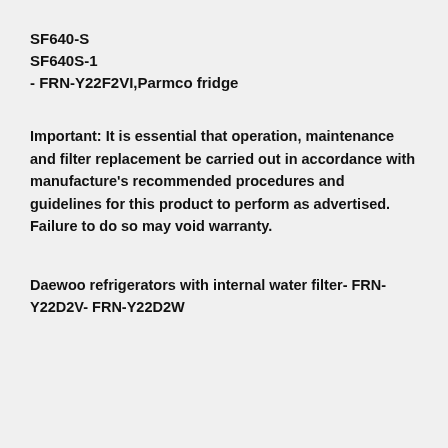SF640-S
SF640S-1
- FRN-Y22F2VI,Parmco fridge
Important: It is essential that operation, maintenance and filter replacement be carried out in accordance with manufacture's recommended procedures and guidelines for this product to perform as advertised. Failure to do so may void warranty.
Daewoo refrigerators with internal water filter- FRN-Y22D2V- FRN-Y22D2W